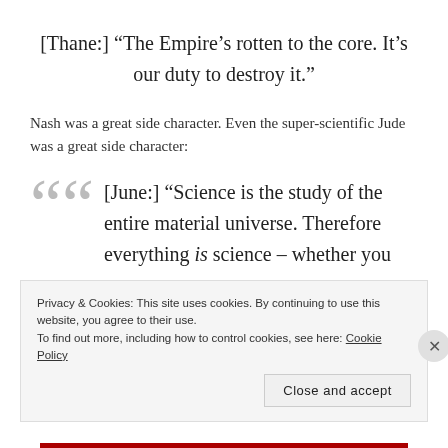[Thane:] “The Empire’s rotten to the core. It’s our duty to destroy it.”
Nash was a great side character. Even the super-scientific Jude was a great side character:
[June:] “Science is the study of the entire material universe. Therefore everything is science – whether you
Privacy & Cookies: This site uses cookies. By continuing to use this website, you agree to their use.
To find out more, including how to control cookies, see here: Cookie Policy
Close and accept